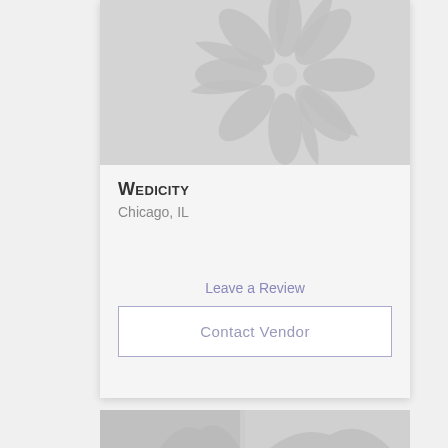[Figure (illustration): Decorative flower/burst logo watermark in light gray on gray background, serving as vendor card header image]
Wedicity
Chicago, IL
Leave a Review
Contact Vendor
[Figure (photo): Partial view of another vendor card image at bottom of page]